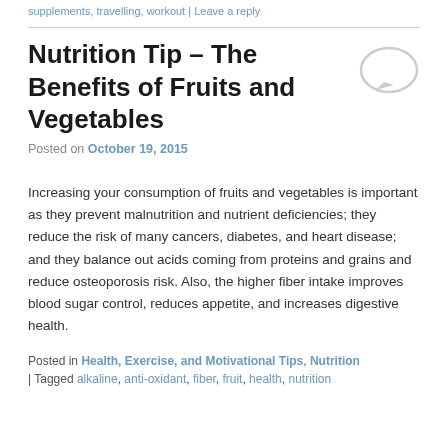supplements, travelling, workout | Leave a reply
Nutrition Tip – The Benefits of Fruits and Vegetables
Posted on October 19, 2015
Increasing your consumption of fruits and vegetables is important as they prevent malnutrition and nutrient deficiencies; they reduce the risk of many cancers, diabetes, and heart disease; and they balance out acids coming from proteins and grains and reduce osteoporosis risk. Also, the higher fiber intake improves blood sugar control, reduces appetite, and increases digestive health.
Posted in Health, Exercise, and Motivational Tips, Nutrition | Tagged alkaline, anti-oxidant, fiber, fruit, health, nutrition